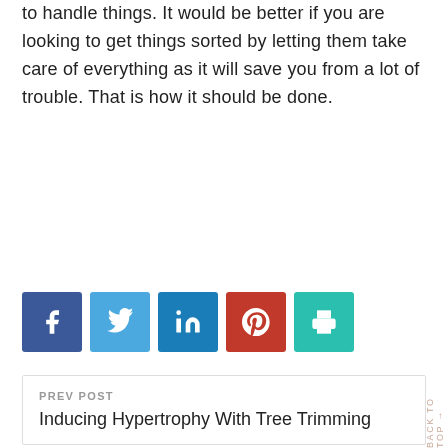to handle things. It would be better if you are looking to get things sorted by letting them take care of everything as it will save you from a lot of trouble. That is how it should be done.
[Figure (infographic): Social sharing buttons: Facebook (dark blue), Twitter (light blue), LinkedIn (medium blue), Pinterest (red), Print (teal)]
PREV POST
Inducing Hypertrophy With Tree Trimming
NEXT POST
Why Gold is a Great Investment